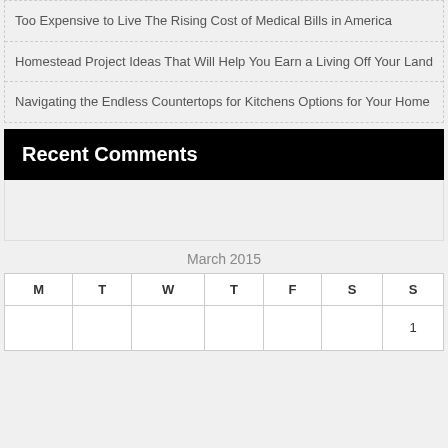Too Expensive to Live The Rising Cost of Medical Bills in America
Homestead Project Ideas That Will Help You Earn a Living Off Your Land
Navigating the Endless Countertops for Kitchens Options for Your Home
Recent Comments
March 2015
| M | T | W | T | F | S | S |
| --- | --- | --- | --- | --- | --- | --- |
|  |  |  |  |  |  | 1 |